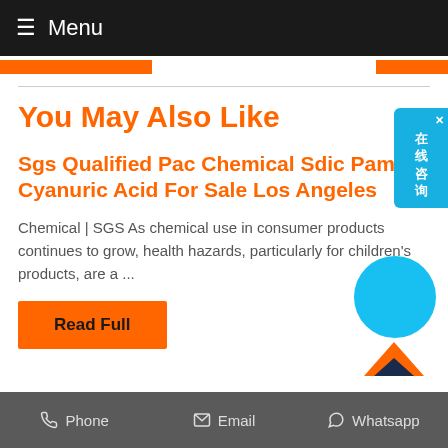Menu
You May Also Like
Sgs Qualified Pac Chemical Sdic Pam Cyanuric Acid For Sale Los Angeles
Chemical | SGS As chemical use in consumer products continues to grow, health hazards, particularly for children's products, are a ...
Read Full
Phone   Email   Whatsapp